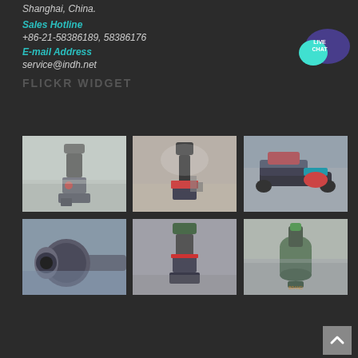Shanghai, China.
Sales Hotline
+86-21-58386189, 58386176
E-mail Address
service@indh.net
FLICKR WIDGET
[Figure (photo): Industrial grinding mill machine in factory]
[Figure (photo): Large industrial vertical mill machine in factory]
[Figure (photo): Crawler mounted industrial crusher equipment]
[Figure (photo): Close-up of ball mill inlet]
[Figure (photo): Gray industrial vertical mill machine]
[Figure (photo): Industrial cylindrical mill machine in factory]